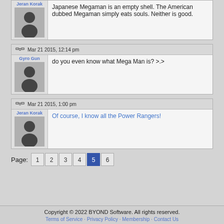Japanese Megaman is an empty shell. The American dubbed Megaman simply eats souls. Neither is good.
Mar 21 2015, 12:14 pm
Gyro Gun
do you even know what Mega Man is? >.>
Mar 21 2015, 1:00 pm
Jeran Korak
Of course, I know all the Power Rangers!
Page: 1 2 3 4 5 6
Copyright © 2022 BYOND Software. All rights reserved. Terms of Service · Privacy Policy · Membership · Contact Us